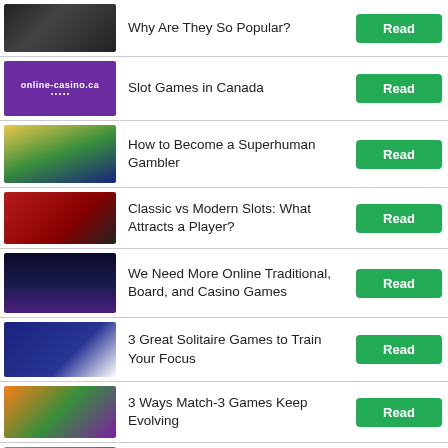Why Are They So Popular?
Slot Games in Canada
How to Become a Superhuman Gambler
Classic vs Modern Slots: What Attracts a Player?
We Need More Online Traditional, Board, and Casino Games
3 Great Solitaire Games to Train Your Focus
3 Ways Match-3 Games Keep Evolving
Top 5 Mobile Word Games of 2017